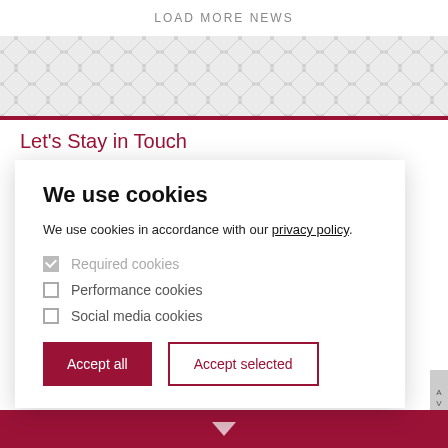LOAD MORE NEWS
[Figure (other): Decorative diamond/geometric pattern band in light gray]
Let's Stay in Touch
All the interesting stuff happening at the faculty and
We use cookies
We use cookies in accordance with our privacy policy.
Required cookies
Performance cookies
Social media cookies
Accept all
Accept selected